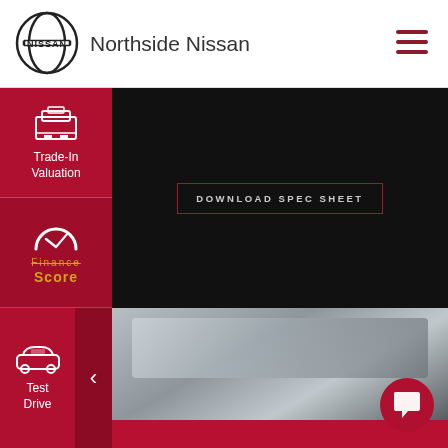[Figure (logo): Nissan circular logo with brand name]
Northside Nissan
[Figure (illustration): Hamburger menu icon (three red horizontal lines)]
[Figure (illustration): Trade-In Valuation icon - white car on ramp with document]
Trade-In Valuation
[Figure (illustration): Finance Score speedometer icon]
Finance Score
[Figure (illustration): Finance Enquiry clipboard with checkmark icon]
Finance Enquiry
[Figure (illustration): Test Drive car icon]
Test Drive
[Figure (illustration): Dark background panel area of car website]
DOWNLOAD SPEC SHEET
[Figure (photo): Car exterior roof and windshield photograph, silver/grey color]
[Figure (illustration): Chat/message bubble icon on red circular button]